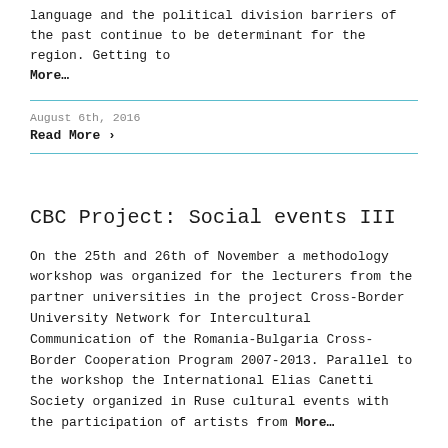language and the political division barriers of the past continue to be determinant for the region. Getting to More…
August 6th, 2016
Read More ›
CBC Project: Social events III
On the 25th and 26th of November a methodology workshop was organized for the lecturers from the partner universities in the project Cross-Border University Network for Intercultural Communication of the Romania-Bulgaria Cross-Border Cooperation Program 2007-2013. Parallel to the workshop the International Elias Canetti Society organized in Ruse cultural events with the participation of artists from More…